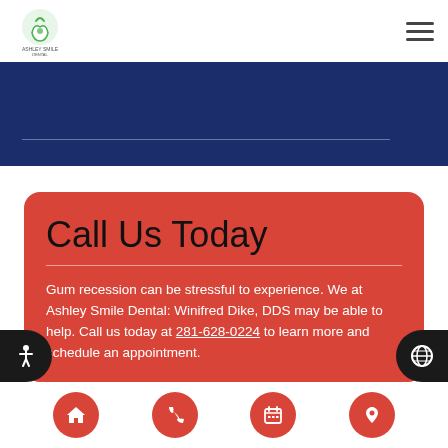Ashley Smile Dental logo and navigation menu
[Figure (other): Navy blue banner section with a horizontal white divider line]
Call Us Today
Gum recession can be stressful to experience. We at Ashley Smile Dental: Winifred Dike, DDS may be able to help. Call us today at 281-628-0224 to learn more and schedule an appointment.
Bottom navigation bar with home, phone, calendar, and location icons